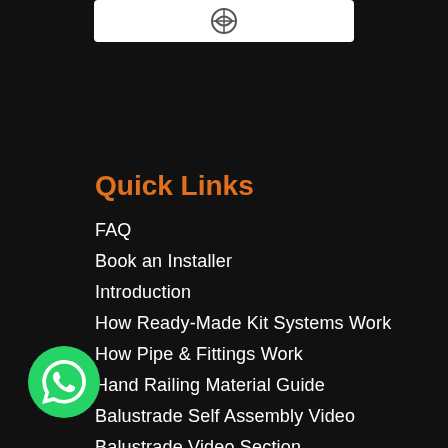[Figure (logo): White rectangular logo area with a circular logo icon]
Quick Links
FAQ
Book an Installer
Introduction
How Ready-Made Kit Systems Work
How Pipe & Fittings Work
Hand Railing Material Guide
Balustrade Self Assembly Video
Balustrade Video Section
Range
Delivery & Vat
[Figure (logo): WhatsApp green circular button with phone icon]